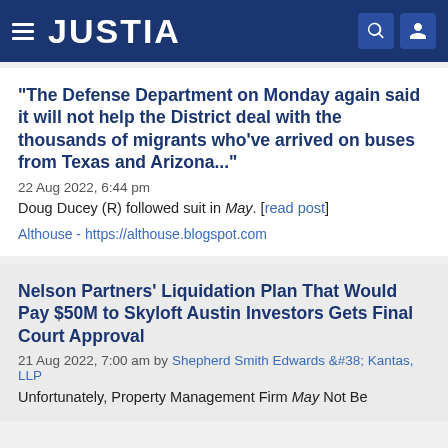JUSTIA
"The Defense Department on Monday again said it will not help the District deal with the thousands of migrants who've arrived on buses from Texas and Arizona..."
22 Aug 2022, 6:44 pm
Doug Ducey (R) followed suit in May. [read post]
Althouse - https://althouse.blogspot.com
Nelson Partners' Liquidation Plan That Would Pay $50M to Skyloft Austin Investors Gets Final Court Approval
21 Aug 2022, 7:00 am by Shepherd Smith Edwards &#38; Kantas, LLP
Unfortunately, Property Management Firm May Not Be